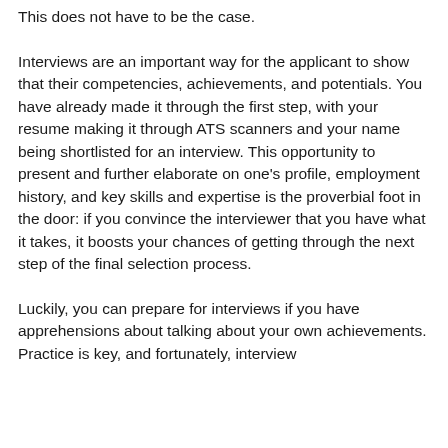parts of the hiring process.
This does not have to be the case.
Interviews are an important way for the applicant to show that their competencies, achievements, and potentials. You have already made it through the first step, with your resume making it through ATS scanners and your name being shortlisted for an interview. This opportunity to present and further elaborate on one’s profile, employment history, and key skills and expertise is the proverbial foot in the door: if you convince the interviewer that you have what it takes, it boosts your chances of getting through the next step of the final selection process.
Luckily, you can prepare for interviews if you have apprehensions about talking about your own achievements. Practice is key, and fortunately, interview